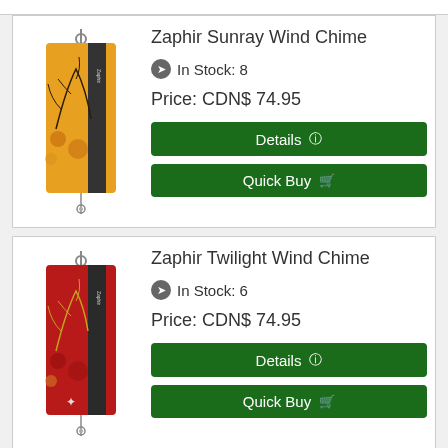Zaphir Sunray Wind Chime
In Stock: 8
Price: CDN$ 74.95
Details
Quick Buy
Zaphir Twilight Wind Chime
In Stock: 6
Price: CDN$ 74.95
Details
Quick Buy